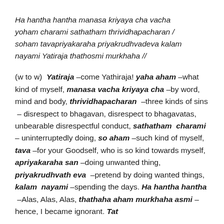Ha hantha hantha manasa kriyaya cha vacha yoham charami sathatham thrividhapacharan / soham tavapriyakaraha priyakrudhvadeva kalam nayami Yatiraja thathosmi murkhaha //
(w to w) Yatiraja –come Yathiraja! yaha aham –what kind of myself, manasa vacha kriyaya cha –by word, mind and body, thrividhapacharan –three kinds of sins – disrespect to bhagavan, disrespect to bhagavatas, unbearable disrespectful conduct, sathatham charami – uninterruptedly doing, so aham –such kind of myself, tava –for your Goodself, who is so kind towards myself, apriyakaraha san –doing unwanted thing, priyakrudhvath eva –pretend by doing wanted things, kalam nayami –spending the days. Ha hantha hantha –Alas, Alas, Alas, thathaha aham murkhaha asmi –hence, I became ignorant. Tat